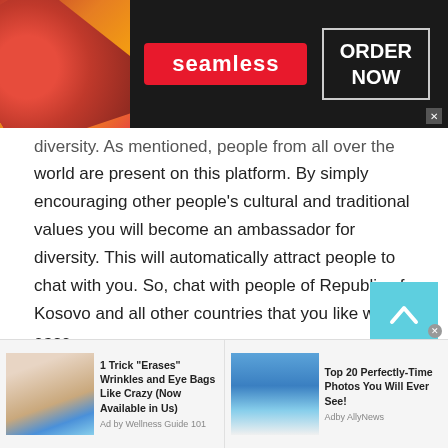[Figure (screenshot): Seamless food delivery advertisement banner with pizza image, red Seamless badge, and ORDER NOW button in box]
diversity. As mentioned, people from all over the world are present on this platform. By simply encouraging other people's cultural and traditional values you will become an ambassador for diversity. This will automatically attract people to chat with you. So, chat with people of Republic of Kosovo and all other countries that you like with ease.
3. Be empathetic:
Just imagine that you are on talkwithstranger and
[Figure (screenshot): Bottom advertisement bar with two ads: '1 Trick Erases Wrinkles and Eye Bags Like Crazy (Now Available in Us) Ad by Wellness Guide 101' and 'Top 20 Perfectly-Time Photos You Will Ever See! Adby AllyNews']